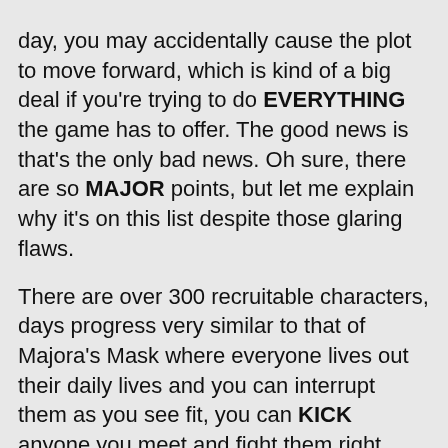day, you may accidentally cause the plot to move forward, which is kind of a big deal if you're trying to do EVERYTHING the game has to offer. The good news is that's the only bad news. Oh sure, there are so MAJOR points, but let me explain why it's on this list despite those glaring flaws.

There are over 300 recruitable characters, days progress very similar to that of Majora's Mask where everyone lives out their daily lives and you can interrupt them as you see fit, you can KICK anyone you meet and fight them right there if you choose, changing armor actually changes your outfit, the weapon types really do matter and affect how your combos work, the